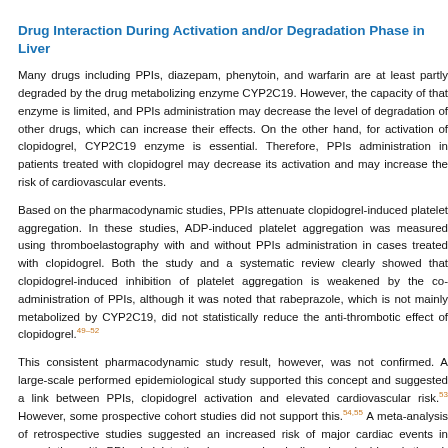Drug Interaction During Activation and/or Degradation Phase in Liver
Many drugs including PPIs, diazepam, phenytoin, and warfarin are at least partly degraded by the drug metabolizing enzyme CYP2C19. However, the capacity of that enzyme is limited, and PPIs administration may decrease the level of degradation of other drugs, which can increase their effects. On the other hand, for activation of clopidogrel, CYP2C19 enzyme is essential. Therefore, PPIs administration in patients treated with clopidogrel may decrease its activation and may increase the risk of cardiovascular events.
Based on the pharmacodynamic studies, PPIs attenuate clopidogrel-induced platelet aggregation. In these studies, ADP-induced platelet aggregation was measured using thromboelastography with and without PPIs administration in cases treated with clopidogrel. Both the study and a systematic review clearly showed that clopidogrel-induced inhibition of platelet aggregation is weakened by the co-administration of PPIs, although it was noted that rabeprazole, which is not mainly metabolized by CYP2C19, did not statistically reduce the anti-thrombotic effect of clopidogrel.49–52
This consistent pharmacodynamic study result, however, was not confirmed. A large-scale performed epidemiological study supported this concept and suggested a link between PPIs, clopidogrel activation and elevated cardiovascular risk.53 However, some prospective cohort studies did not support this.54,55 A meta-analysis of retrospective studies suggested an increased risk of major cardiac events in association with PPI administration in cases chronically using clopidogrel, though not all such studies reached the same conclusion.56,57 The level of evidence of the retrospective studies was not adequate to make clinically relevant conclusions.